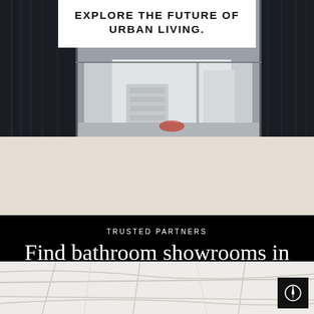[Figure (photo): Interior architectural photo of a modern living space with glass walls and staircase, dark tones on the sides]
EXPLORE THE FUTURE OF URBAN LIVING.
[Figure (photo): Beige/cream neutral background strip]
TRUSTED PARTNERS
Find bathroom showrooms in your area
[Figure (map): Light grey street map with road lines visible, compass icon in bottom right corner]